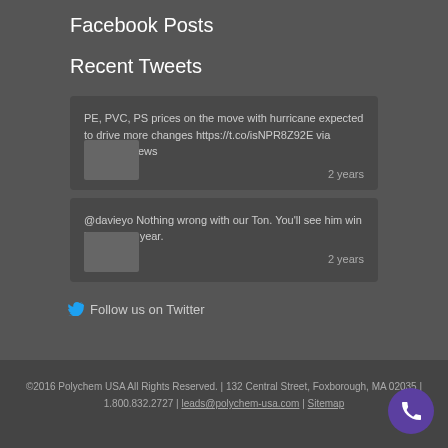Facebook Posts
Recent Tweets
PE, PVC, PS prices on the move with hurricane expected to drive more changes https://t.co/isNPR8Z92E via @plasticsnews
2 years
@davieyo Nothing wrong with our Ton. You'll see him win his 7th this year.
2 years
Follow us on Twitter
©2016 Polychem USA All Rights Reserved. | 132 Central Street, Foxborough, MA 02035 | 1.800.832.2727 | leads@polychem-usa.com | Sitemap